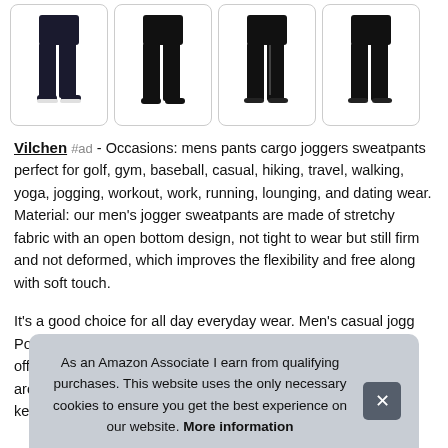[Figure (photo): Four product thumbnail images of black men's jogger sweatpants, each in a rounded rectangle border]
Vilchen #ad - Occasions: mens pants cargo joggers sweatpants perfect for golf, gym, baseball, casual, hiking, travel, walking, yoga, jogging, workout, work, running, lounging, and dating wear. Material: our men's jogger sweatpants are made of stretchy fabric with an open bottom design, not tight to wear but still firm and not deformed, which improves the flexibility and free along with soft touch.
It's a good choice for all day everyday wear. Men's casual jogg... Poc... offe... arou... kee...
As an Amazon Associate I earn from qualifying purchases. This website uses the only necessary cookies to ensure you get the best experience on our website. More information